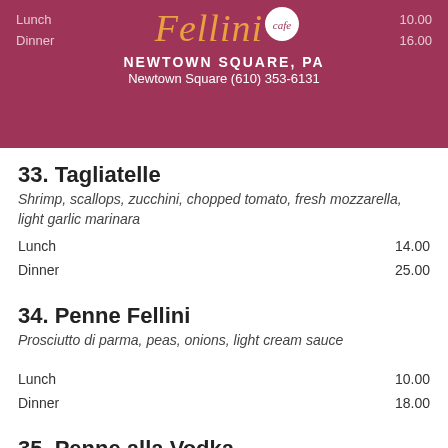Fellini cafe
NEWTOWN SQUARE, PA
Newtown Square (610) 353-6131
Lunch 10.00
Dinner 16.00
33. Tagliatelle
Shrimp, scallops, zucchini, chopped tomato, fresh mozzarella, light garlic marinara
Lunch 14.00
Dinner 25.00
34. Penne Fellini
Prosciutto di parma, peas, onions, light cream sauce
Lunch 10.00
Dinner 18.00
35. Penne alla Vodka
Tomato cream sauce reduced in vodka